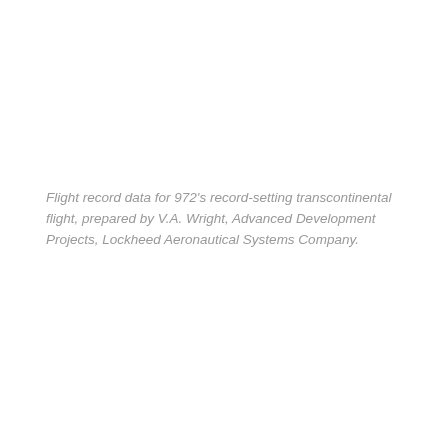Flight record data for 972's record-setting transcontinental flight, prepared by V.A. Wright, Advanced Development Projects, Lockheed Aeronautical Systems Company.